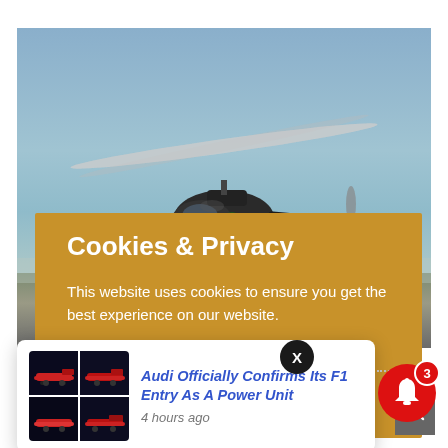[Figure (photo): Helicopter flying against a clear blue sky, viewed from below/side. Black helicopter with rotor blades spinning, landing skids visible, hazy landscape in background.]
Cookies & Privacy
This website uses cookies to ensure you get the best experience on our website.
See privacy policy
[Figure (screenshot): Notification popup card showing: thumbnail grid of F1 racing cars, headline 'Audi Officially Confirms Its F1 Entry As A Power Unit', timestamp '4 hours ago']
[Figure (illustration): Red notification bell icon with badge showing '3']